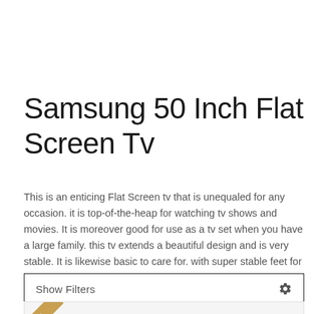Samsung 50 Inch Flat Screen Tv
This is an enticing Flat Screen tv that is unequaled for any occasion. it is top-of-the-heap for watching tv shows and movies. It is moreover good for use as a tv set when you have a large family. this tv extends a beautiful design and is very stable. It is likewise basic to care for. with super stable feet for base and super strong wireles feet for base and stand.
Show Filters